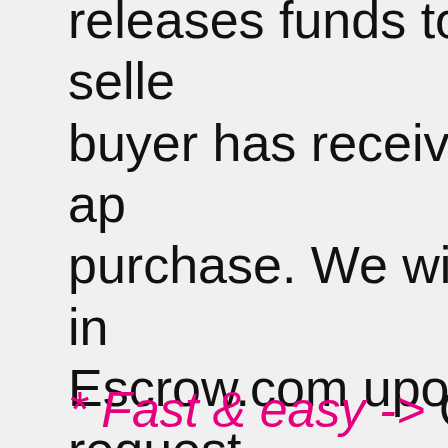releases funds to the seller once buyer has received and approved purchase. We will gladly introduce Escrow.com upon request. We require escrow-transaction for all items.
* Fast & easy -> Our cart is